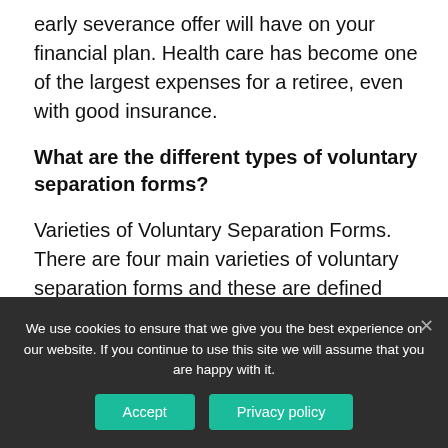early severance offer will have on your financial plan. Health care has become one of the largest expenses for a retiree, even with good insurance.
What are the different types of voluntary separation forms?
Varieties of Voluntary Separation Forms. There are four main varieties of voluntary separation forms and these are defined below: When an employee decides to leave the company by choosing the voluntary separation option, he will have to agree and sign a voluntary separation agreement form
We use cookies to ensure that we give you the best experience on our website. If you continue to use this site we will assume that you are happy with it.